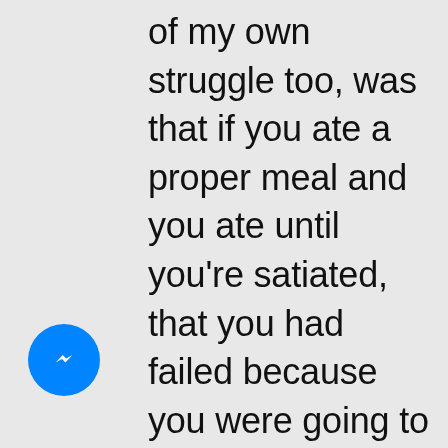of my own struggle too, was that if you ate a proper meal and you ate until you're satiated, that you had failed because you were going to gain weight. And in the past on a high carb, low fat diet, that's absolutely true. That's not the case on a low carb, high fat diet. It's quite different in how your body produces these hormones
[Figure (logo): Facebook Messenger blue circle icon with white lightning bolt/chat symbol]